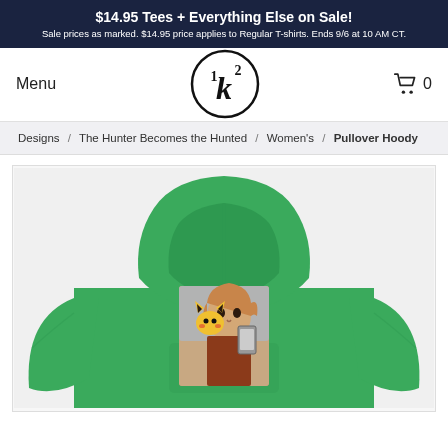$14.95 Tees + Everything Else on Sale! Sale prices as marked. $14.95 price applies to Regular T-shirts. Ends 9/6 at 10 AM CT.
Menu
[Figure (logo): K2K logo — circle with K and superscript 2 above a stylized K]
0
Designs / The Hunter Becomes the Hunted / Women's / Pullover Hoody
[Figure (photo): Green pullover hoodie with a printed design on the chest showing a woman taking a selfie with a Pikachu character visible behind her]